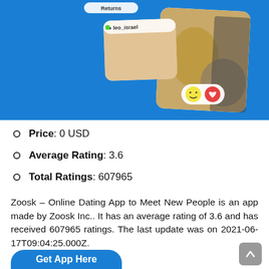[Figure (screenshot): App screenshot showing Zoosk dating app UI with blue background, profile cards with cat photo and reaction buttons (smiley and heart emoji)]
Price: 0 USD
Average Rating: 3.6
Total Ratings: 607965
Zoosk – Online Dating App to Meet New People is an app made by Zoosk Inc.. It has an average rating of 3.6 and has received 607965 ratings. The last update was on 2021-06-17T09:04:25.000Z.